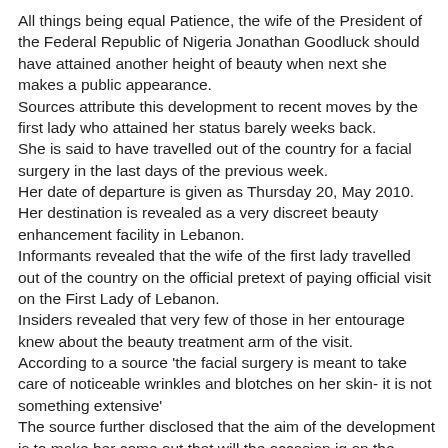All things being equal Patience, the wife of the President of the Federal Republic of Nigeria Jonathan Goodluck should have attained another height of beauty when next she makes a public appearance. Sources attribute this development to recent moves by the first lady who attained her status barely weeks back. She is said to have travelled out of the country for a facial surgery in the last days of the previous week. Her date of departure is given as Thursday 20, May 2010. Her destination is revealed as a very discreet beauty enhancement facility in Lebanon. Informants revealed that the wife of the first lady travelled out of the country on the official pretext of paying official visit on the First Lady of Lebanon. Insiders revealed that very few of those in her entourage knew about the beauty treatment arm of the visit. According to a source 'the facial surgery is meant to take care of noticeable wrinkles and blotches on her skin- it is not something extensive' The source further disclosed that the aim of the development is to make her come out that will the occasion ig on the